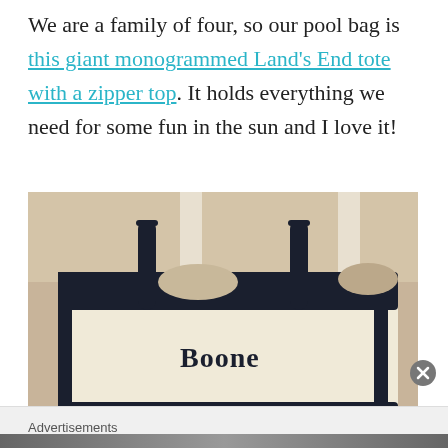We are a family of four, so our pool bag is this giant monogrammed Land's End tote with a zipper top. It holds everything we need for some fun in the sun and I love it!
[Figure (photo): A large monogrammed cream and navy canvas tote bag with the name 'Boone' printed on the front. The bag has dark navy handles and trim, with an open top showing dark interior. It sits against a light-colored wooden background.]
Advertisements